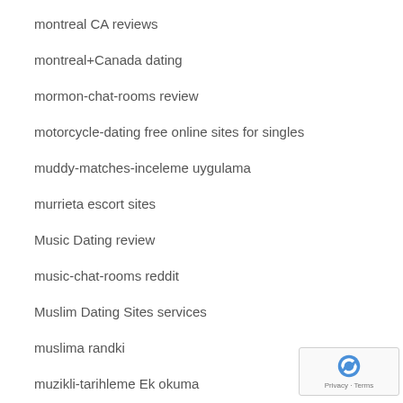montreal CA reviews
montreal+Canada dating
mormon-chat-rooms review
motorcycle-dating free online sites for singles
muddy-matches-inceleme uygulama
murrieta escort sites
Music Dating review
music-chat-rooms reddit
Muslim Dating Sites services
muslima randki
muzikli-tarihleme Ek okuma